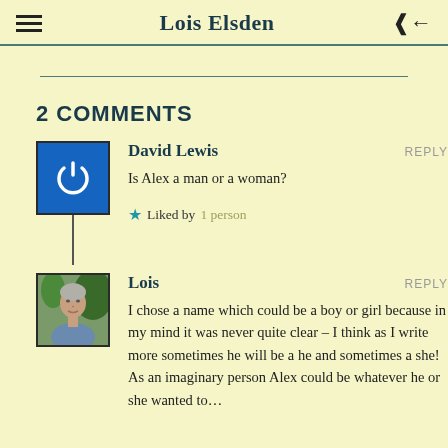Lois Elsden
2 COMMENTS
David Lewis
Is Alex a man or a woman?
Liked by 1 person
Lois
I chose a name which could be a boy or girl because in my mind it was never quite clear – I think as I write more sometimes he will be a he and sometimes a she! As an imaginary person Alex could be whatever he or she wanted to…